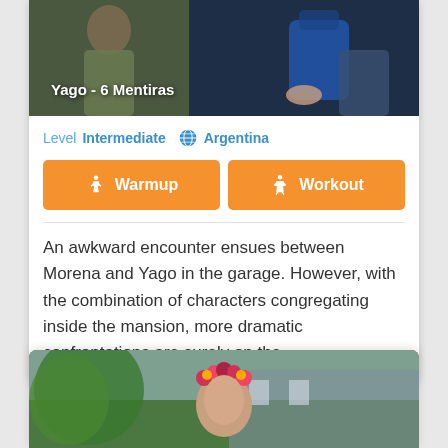[Figure (screenshot): Video thumbnail showing two people, dark toned image with blue backpack visible, title overlay 'Yago - 6 Mentiras']
Yago - 6 Mentiras
Level  Intermediate  🌐  Argentina
Warmup  Workout
An awkward encounter ensues between Morena and Yago in the garage. However, with the combination of characters congregating inside the mansion, more dramatic confrontations are surely on the...
[Figure (photo): Bottom thumbnail showing a person with a floral headpiece/crown outdoors]